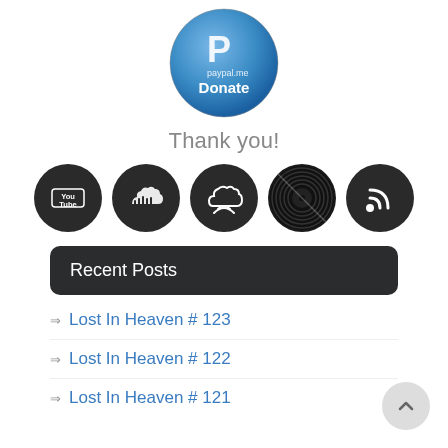[Figure (logo): PayPal Donate button logo - circular blue gradient badge with white P and 'paypal.me Donate' text]
Thank you!
[Figure (infographic): Five social media icon circles: YouTube, SoundCloud, cloud/podcast, vinyl record, RSS feed]
Recent Posts
Lost In Heaven # 123
Lost In Heaven # 122
Lost In Heaven # 121